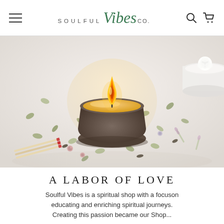SOULFUL Vibes CO.
[Figure (photo): A lit candle in a dark round clay vessel surrounded by scattered dried botanicals, seeds, dried rose buds, dried flowers, and matchsticks on a white surface. A white rose candle is visible in the top right corner.]
A LABOR OF LOVE
Soulful Vibes is a spiritual shop with a focuson educating and enriching spiritual journeys. Creating this passion became our Shop...